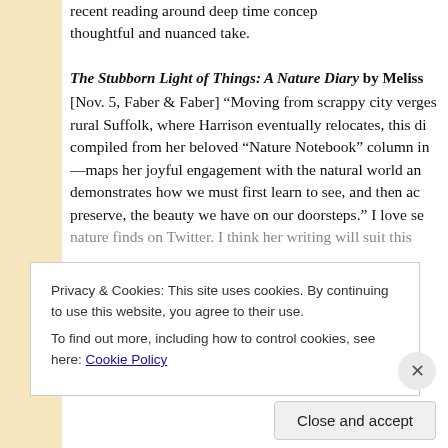recent reading around deep time concepts — a thoughtful and nuanced take.
The Stubborn Light of Things: A Nature Diary by Melissa
[Nov. 5, Faber & Faber] “Moving from scrappy city verges to rural Suffolk, where Harrison eventually relocates, this diary—compiled from her beloved “Nature Notebook” column in—maps her joyful engagement with the natural world and demonstrates how we must first learn to see, and then ac preserve, the beauty we have on our doorsteps.” I love se nature finds on Twitter. I think her writing will suit this …
Privacy & Cookies: This site uses cookies. By continuing to use this website, you agree to their use.
To find out more, including how to control cookies, see here: Cookie Policy
Close and accept